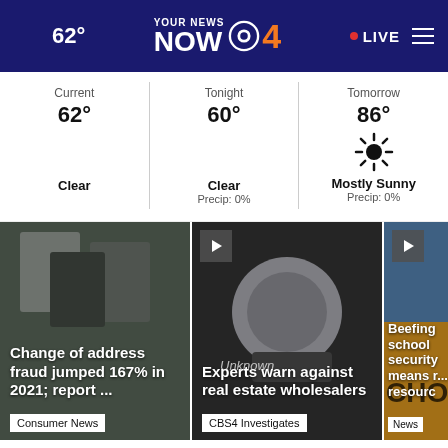62° — Your News Now CBS4 — LIVE
| Current | Tonight | Tomorrow |
| --- | --- | --- |
| 62° | 60° | 86° |
| Clear | Clear
Precip: 0% | Mostly Sunny
Precip: 0% |
[Figure (photo): Mailboxes photo — Change of address fraud jumped 167% in 2021; report...]
[Figure (photo): Phone showing Unknown caller — Experts warn against real estate wholesalers]
[Figure (photo): School bus — Beefing school security means r... resource]